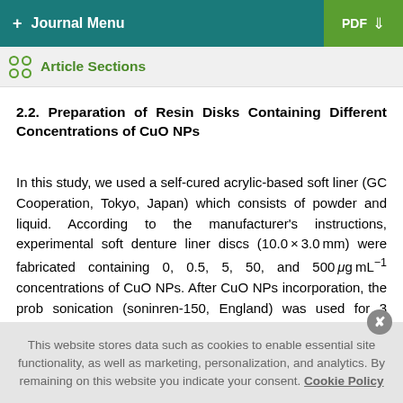+ Journal Menu | PDF ↓
Article Sections
2.2. Preparation of Resin Disks Containing Different Concentrations of CuO NPs
In this study, we used a self-cured acrylic-based soft liner (GC Cooperation, Tokyo, Japan) which consists of powder and liquid. According to the manufacturer's instructions, experimental soft denture liner discs (10.0 × 3.0 mm) were fabricated containing 0, 0.5, 5, 50, and 500 μg mL−1 concentrations of CuO NPs. After CuO NPs incorporation, the prob sonication (soninren-150, England) was used for 3 minutes
This website stores data such as cookies to enable essential site functionality, as well as marketing, personalization, and analytics. By remaining on this website you indicate your consent. Cookie Policy